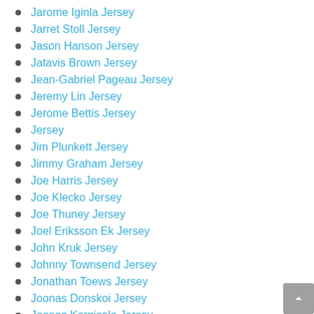Jarome Iginla Jersey
Jarret Stoll Jersey
Jason Hanson Jersey
Jatavis Brown Jersey
Jean-Gabriel Pageau Jersey
Jeremy Lin Jersey
Jerome Bettis Jersey
Jersey
Jim Plunkett Jersey
Jimmy Graham Jersey
Joe Harris Jersey
Joe Klecko Jersey
Joe Thuney Jersey
Joel Eriksson Ek Jersey
John Kruk Jersey
Johnny Townsend Jersey
Jonathan Toews Jersey
Joonas Donskoi Jersey
Joonas Korpisalo Jersey
Jordan Jenkins Jersey